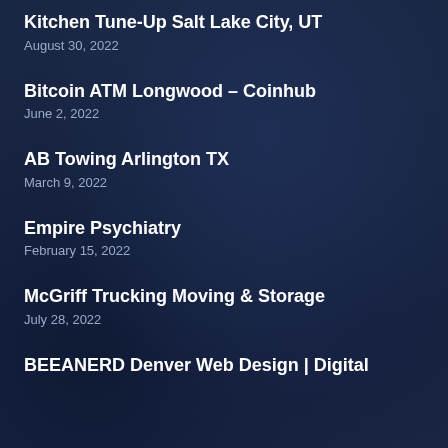Kitchen Tune-Up Salt Lake City, UT
August 30, 2022
Bitcoin ATM Longwood – Coinhub
June 2, 2022
AB Towing Arlington TX
March 9, 2022
Empire Psychiatry
February 15, 2022
McGriff Trucking Moving & Storage
July 28, 2022
BEEANERD Denver Web Design | Digital